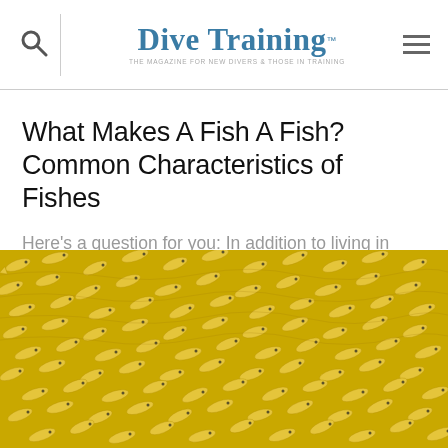Dive Training — THE MAGAZINE FOR NEW DIVERS & THOSE IN TRAINING
What Makes A Fish A Fish? Common Characteristics of Fishes
Here's a question for you: In addition to living in water, whale sharks, manta rays, moray eels, groupers, gobies, rainbow trout and sea horses...
[Figure (photo): A dense school of small yellow fish swimming closely together, viewed from above/side, filling the entire frame.]